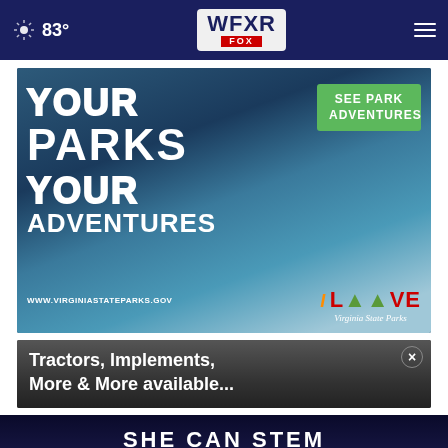WFXR FOX | 83°
[Figure (illustration): Virginia State Parks advertisement: 'YOUR PARKS YOUR ADVENTURES' with a lake/canoe background, green 'SEE PARK ADVENTURES' button, I Love Virginia State Parks logo, www.virginiastateparks.gov URL]
[Figure (illustration): Advertisement with dark wood-grain background: 'Tractors, Implements, More & More available...' with a close (x) button]
[Figure (illustration): SHE CAN STEM banner advertisement with dark blue/black background]